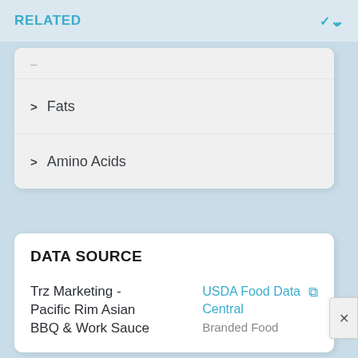RELATED
> Fats
> Amino Acids
DATA SOURCE
Trz Marketing - Pacific Rim Asian BBQ & Work Sauce
USDA Food Data Central
Branded Food